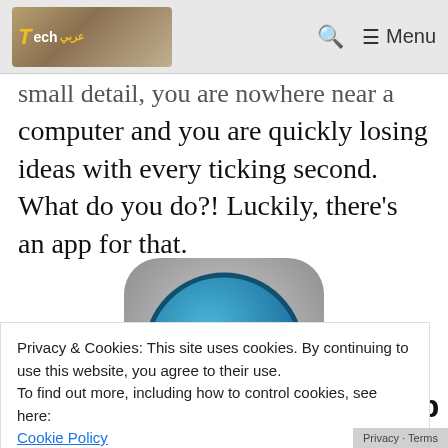Tech logo | Search | Menu
small detail, you are nowhere near a computer and you are quickly losing ideas with every ticking second. What do you do?! Luckily, there's an app for that.
[Figure (logo): WordPress app icon — rounded square with blue circle containing a white W logo]
1.   WordPress/Blogger App
Privacy & Cookies: This site uses cookies. By continuing to use this website, you agree to their use. To find out more, including how to control cookies, see here: Cookie Policy
and draft and publish new posts, as well as add in pictures and tags. It's blogging on the